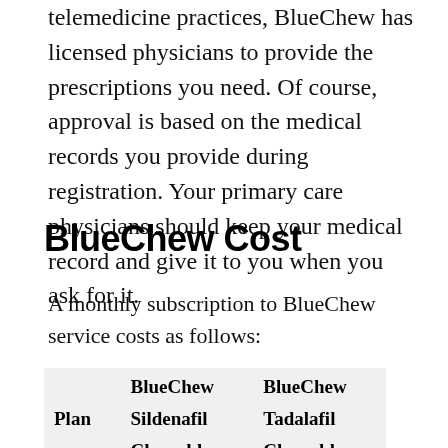telemedicine practices, BlueChew has licensed physicians to provide the prescriptions you need. Of course, approval is based on the medical records you provide during registration. Your primary care physicians should keep your medical record and give it to you when you ask for it.
BlueChew Cost
A monthly subscription to BlueChew service costs as follows:
| Plan | BlueChew Sildenafil Chewables | BlueChew Tadalafil Chewables |
| --- | --- | --- |